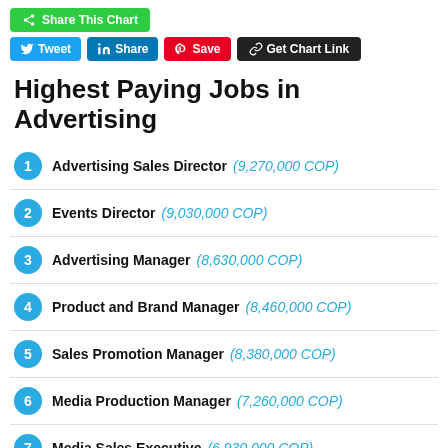[Figure (screenshot): Social sharing toolbar with Share This Chart (green), Tweet (blue), Share (LinkedIn blue), Save (Pinterest red), Get Chart Link (dark) buttons]
Highest Paying Jobs in Advertising
1 Advertising Sales Director (9,270,000 COP)
2 Events Director (9,030,000 COP)
3 Advertising Manager (8,630,000 COP)
4 Product and Brand Manager (8,460,000 COP)
5 Sales Promotion Manager (8,380,000 COP)
6 Media Production Manager (7,260,000 COP)
7 Media Sales Executive (6,930,000 COP)